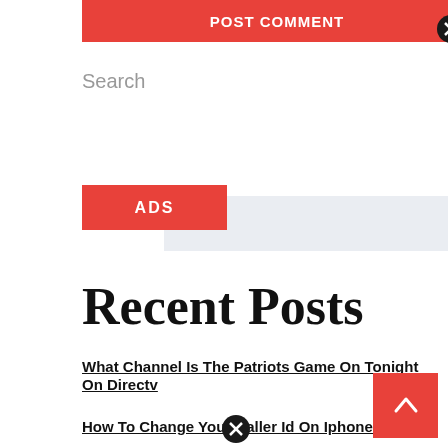[Figure (screenshot): Red POST COMMENT button with black close circle icon]
Search
[Figure (screenshot): Search input field and Search button]
[Figure (screenshot): Red ADS button]
Recent Posts
What Channel Is The Patriots Game On Tonight On Directv
How To Change Your Caller Id On Iphone 7
[Figure (screenshot): Red back-to-top arrow button (bottom right)]
[Figure (screenshot): Black close circle icon at bottom center]